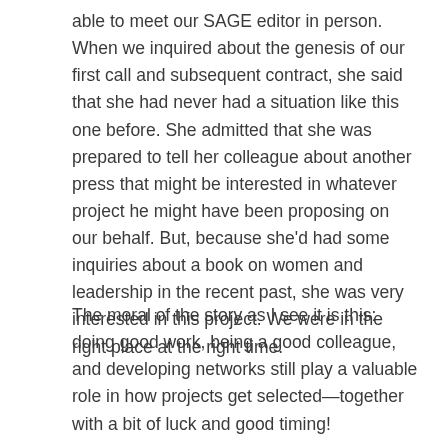able to meet our SAGE editor in person. When we inquired about the genesis of our first call and subsequent contract, she said that she had never had a situation like this one before. She admitted that she was prepared to tell her colleague about another press that might be interested in whatever project he might have been proposing on our behalf. But, because she'd had some inquiries about a book on women and leadership in the recent past, she was very interested in this project. We were in the right place at the right time.
The moral of the story as I see it is this: doing good work, being a good colleague, and developing networks still play a valuable role in how projects get selected—together with a bit of luck and good timing!